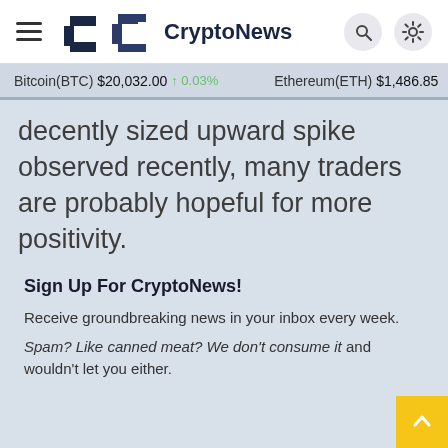CryptoNews
Bitcoin(BTC) $20,032.00 ↑ 0.03%   Ethereum(ETH) $1,486.85
decently sized upward spike observed recently, many traders are probably hopeful for more positivity.
Sign Up For CryptoNews!
Receive groundbreaking news in your inbox every week.
Spam? Like canned meat? We don't consume it and wouldn't let you either.